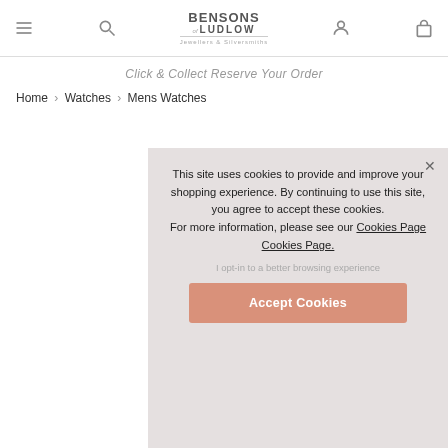BENSONS OF LUDLOW — Jewellers & Silversmiths
Click & Collect Reserve Your Order
Home > Watches > Mens Watches
This site uses cookies to provide and improve your shopping experience. By continuing to use this site, you agree to accept these cookies. For more information, please see our Cookies Page Cookies Page.
I opt-in to a better browsing experience
Accept Cookies